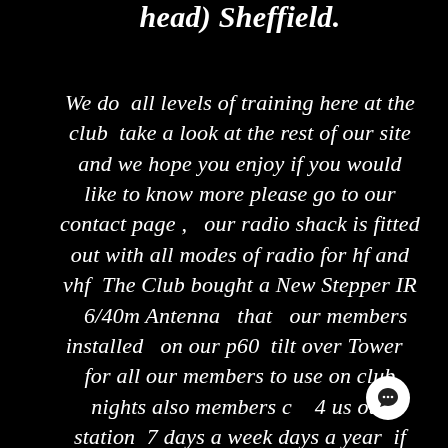head) Sheffield.
We do  all levels of training here at the club  take a look at the rest of our site and we hope you enjoy if you would like to know more please go to our contact page ,  our radio shack is fitted out with all modes of radio for hf and vhf  The Club bought a New Stepper IR   6/40m Antenna  that  our members installed  on our p60  tilt over Tower  for all our members to use on club nights also members c    4 us our station  7 days a week      days a year  if they like to work